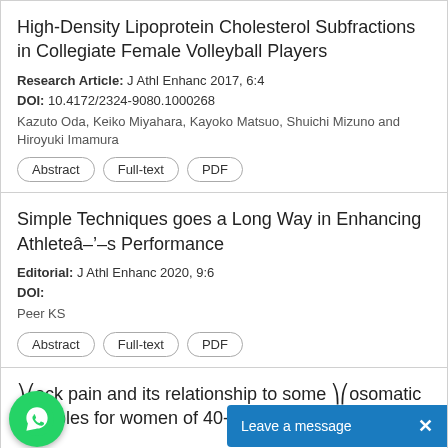High-Density Lipoprotein Cholesterol Subfractions in Collegiate Female Volleyball Players
Research Article: J Athl Enhanc 2017, 6:4
DOI: 10.4172/2324-9080.1000268
Kazuto Oda, Keiko Miyahara, Kayoko Matsuo, Shuichi Mizuno and Hiroyuki Imamura
Simple Techniques goes a Long Way in Enhancing Athleteâs Performance
Editorial: J Athl Enhanc 2020, 9:6
DOI:
Peer KS
back pain and its relationship to some nosomatic variables for women of 40-50 years of age
[Figure (screenshot): WhatsApp chat bubble icon (green circle with phone handset) and 'Leave a message' blue notification bar with X close button]